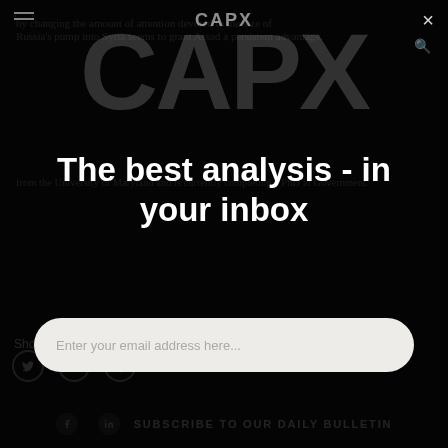[Figure (screenshot): CapX website screenshot with modal overlay. Large CAPX watermark logo visible. Dark overlay with newsletter signup prompt reading 'The best analysis - in your inbox' with email input field.]
by changing the amount of attention devoted to the size of Russia's pump into Syria seems to grant Assad a persistent advantage.
from the University of Maryland and is currently completing a PhD in Government.
The best analysis - in your inbox
Enter your email address here...
Sho
SUBSCRIBE TO OUR DAILY BULLETIN